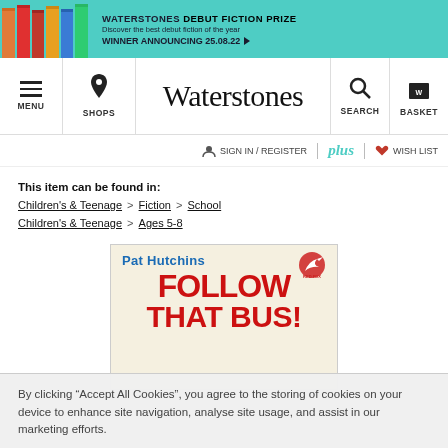[Figure (screenshot): Waterstones website banner for Debut Fiction Prize with colourful book spines, teal background, text: WATERSTONES DEBUT FICTION PRIZE, WINNER ANNOUNCING 25.08.22]
MENU | SHOPS | Waterstones | SEARCH | BASKET
SIGN IN / REGISTER | plus | WISH LIST
This item can be found in: Children's & Teenage > Fiction > School Children's & Teenage > Ages 5-8
[Figure (photo): Book cover: Pat Hutchins - FOLLOW THAT BUS! Red title text on cream background with bird logo]
By clicking "Accept All Cookies", you agree to the storing of cookies on your device to enhance site navigation, analyse site usage, and assist in our marketing efforts.